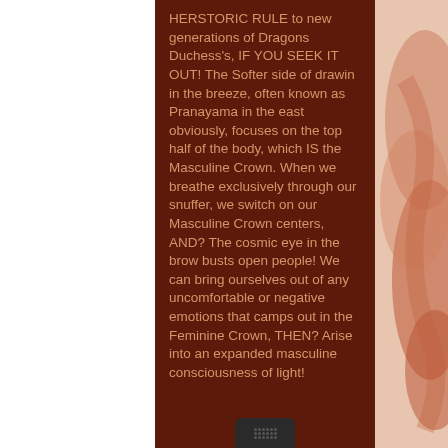HERSTORIC RULE to new generations of Dragons Duchess's, IF YOU SEEK IT OUT!  The Softer side of drawin in the breeze, often known as Pranayama in the east obviously, focuses on the top half of the body, which IS the Masculine Crown.  When we breathe exclusively through our snuffer, we switch on our Masculine Crown centers, AND?  The cosmic eye in the brow busts open people!  We can bring ourselves out of any uncomfortable or negative emotions that camps out in the Feminine Crown, THEN?  Arise into an expanded masculine consciousness of light!